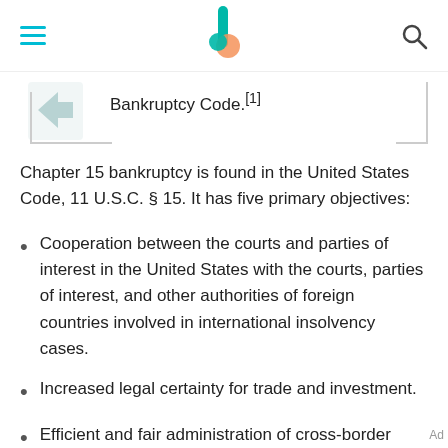Bankruptcy Code.[1]
Chapter 15 bankruptcy is found in the United States Code, 11 U.S.C. § 15. It has five primary objectives:
Cooperation between the courts and parties of interest in the United States with the courts, parties of interest, and other authorities of foreign countries involved in international insolvency cases.
Increased legal certainty for trade and investment.
Efficient and fair administration of cross-border